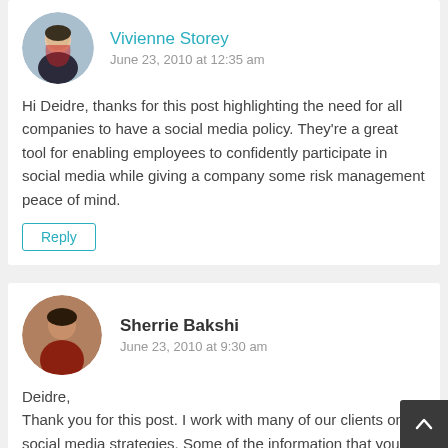Vivienne Storey
June 23, 2010 at 12:35 am
Hi Deidre, thanks for this post highlighting the need for all companies to have a social media policy. They're a great tool for enabling employees to confidently participate in social media while giving a company some risk management peace of mind.
Reply
Sherrie Bakshi
June 23, 2010 at 9:30 am
Deidre,
Thank you for this post. I work with many of our clients on social media strategies. Some of the information that you provided is very helpful. I've had a few clients concerned about moderating communications,